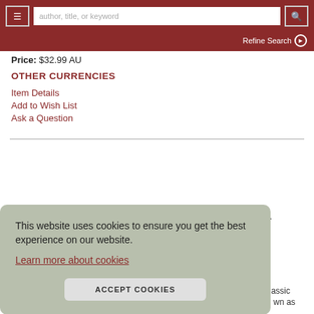author, title, or keyword — navigation bar with menu and search
Price: $32.99 AU
OTHER CURRENCIES
Item Details
Add to Wish List
Ask a Question
This website uses cookies to ensure you get the best experience on our website. Learn more about cookies [ACCEPT COOKIES button]
e 3.
o,
e classic own as
The Dream of the Red Chamber, a novel